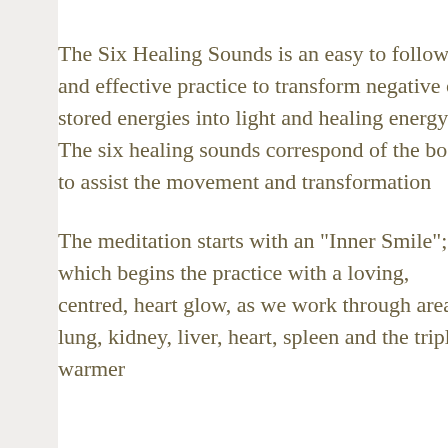The Six Healing Sounds is an easy to follow and effective practice to transform negative or stored energies into light and healing energy. The six healing sounds correspond to areas of the body to assist the movement and transformation...
The meditation starts with an "Inner Smile"; which begins the practice with a loving, centred, heart glow, as we work through areas; lung, kidney, liver, heart, spleen and the triple warmer...